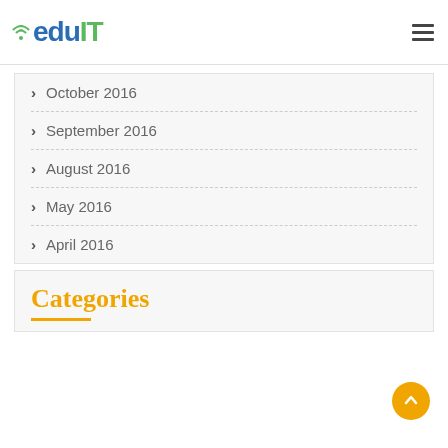eduIT
October 2016
September 2016
August 2016
May 2016
April 2016
Categories